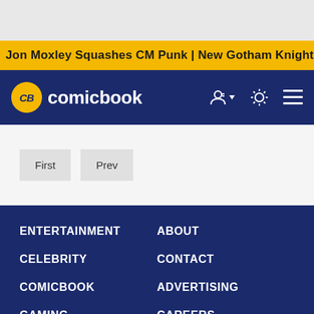Jon Moxley Squashes CM Punk | New Gotham Knights Releas
[Figure (logo): CB comicbook logo - yellow circle badge with CB text and white comicbook wordmark on navy background]
First
Prev
ENTERTAINMENT
ABOUT
CELEBRITY
CONTACT
COMICBOOK
ADVERTISING
GAMING
CAREERS
LIFESTYLE
PARAMOUNT+
PRIVACY POLICY | REGISTER